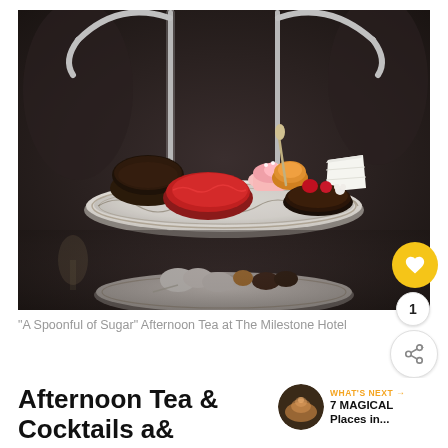[Figure (photo): A silver tiered afternoon tea stand with elegant plates holding various pastries and desserts including a dark chocolate macaron, a pink cupcake, a chocolate tart with raspberries, red pastry, white cake slice, and other confections. The lower tier has additional sweets. Dark moody background.]
"A Spoonful of Sugar" Afternoon Tea at The Milestone Hotel
Afternoon Tea & Cocktails at Milestone Hotel